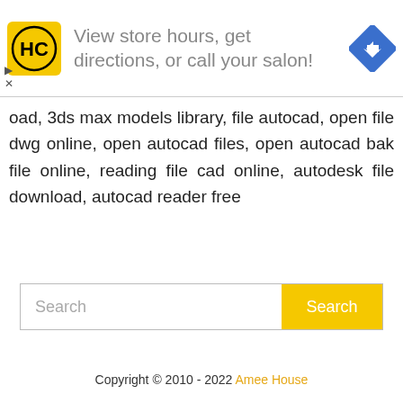[Figure (infographic): Ad banner with HC logo (black and yellow), text 'View store hours, get directions, or call your salon!' in gray, and a blue diamond navigation arrow icon on the right. Small play and close controls at bottom left.]
oad, 3ds max models library, file autocad, open file dwg online, open autocad files, open autocad bak file online, reading file cad online, autodesk file download, autocad reader free
[Figure (screenshot): Search input field with placeholder text 'Search' and a yellow 'Search' button on the right.]
Copyright © 2010 - 2022 Amee House